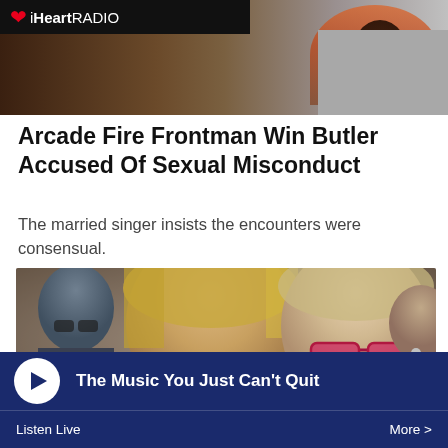iHeartRADIO
Arcade Fire Frontman Win Butler Accused Of Sexual Misconduct
The married singer insists the encounters were consensual.
[Figure (photo): Photo of two people posing together — a woman with blonde hair and a man wearing pink/red tinted glasses, with other people visible in the background]
The Music You Just Can't Quit
Listen Live
More >